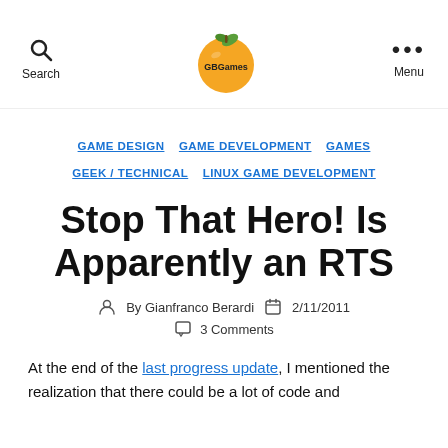Search | GBGames | Menu
GAME DESIGN  GAME DEVELOPMENT  GAMES  GEEK / TECHNICAL  LINUX GAME DEVELOPMENT
Stop That Hero! Is Apparently an RTS
By Gianfranco Berardi  2/11/2011  3 Comments
At the end of the last progress update, I mentioned the realization that there could be a lot of code and